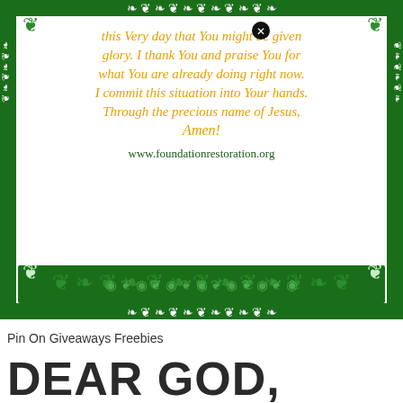[Figure (illustration): Decorative prayer card with ornate green scrollwork border, orange italic prayer text, and website www.foundationrestoration.org]
Pin On Giveaways Freebies
DEAR GOD,
The enemy is doing everything in his power to destroy the beautiful picture of marriage that You have created. Even among believers there is divorce,